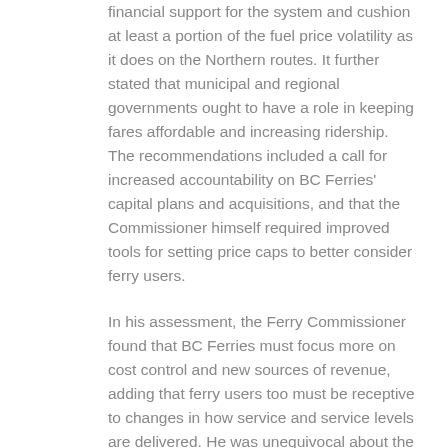financial support for the system and cushion at least a portion of the fuel price volatility as it does on the Northern routes. It further stated that municipal and regional governments ought to have a role in keeping fares affordable and increasing ridership. The recommendations included a call for increased accountability on BC Ferries' capital plans and acquisitions, and that the Commissioner himself required improved tools for setting price caps to better consider ferry users.
In his assessment, the Ferry Commissioner found that BC Ferries must focus more on cost control and new sources of revenue, adding that ferry users too must be receptive to changes in how service and service levels are delivered. He was unequivocal about the need for the Province to define a vision for the future of ferry services and provide additional financial support to ensure the system's